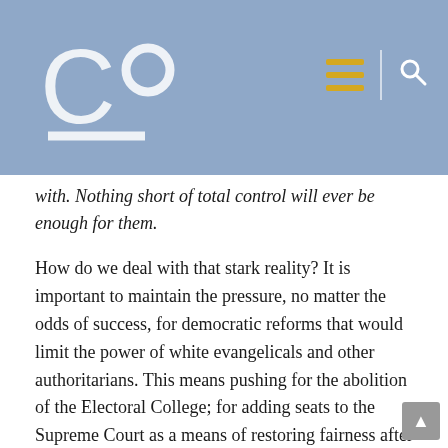Co [logo] [hamburger menu] [search icon]
with. Nothing short of total control will ever be enough for them.
How do we deal with that stark reality? It is important to maintain the pressure, no matter the odds of success, for democratic reforms that would limit the power of white evangelicals and other authoritarians. This means pushing for the abolition of the Electoral College; for adding seats to the Supreme Court as a means of restoring fairness after the G.O.P's recent power grab; and admitting DC and Puerto Rico as states.
We must also maintain high public awareness of Christian nationalist extremism. Over time, a more realistic national conversation about white churches and Christian nationalism should contribute to the political